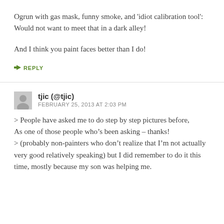Ogrun with gas mask, funny smoke, and 'idiot calibration tool': Would not want to meet that in a dark alley!
And I think you paint faces better than I do!
↳ REPLY
tjic (@tjic)
FEBRUARY 25, 2013 AT 2:03 PM
> People have asked me to do step by step pictures before,
As one of those people who’s been asking – thanks!
> (probably non-painters who don’t realize that I’m not actually very good relatively speaking) but I did remember to do it this time, mostly because my son was helping me.